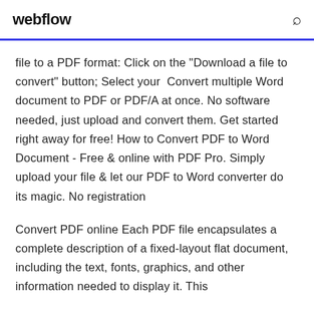webflow
file to a PDF format: Click on the "Download a file to convert" button; Select your  Convert multiple Word document to PDF or PDF/A at once. No software needed, just upload and convert them. Get started right away for free! How to Convert PDF to Word Document - Free & online with PDF Pro. Simply upload your file & let our PDF to Word converter do its magic. No registration
Convert PDF online Each PDF file encapsulates a complete description of a fixed-layout flat document, including the text, fonts, graphics, and other information needed to display it. This